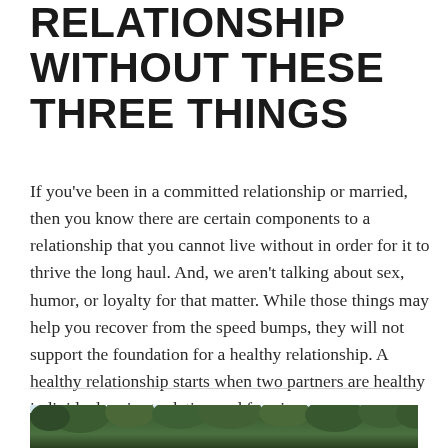RELATIONSHIP WITHOUT THESE THREE THINGS
If you've been in a committed relationship or married, then you know there are certain components to a relationship that you cannot live without in order for it to thrive the long haul. And, we aren't talking about sex, humor, or loyalty for that matter. While those things may help you recover from the speed bumps, they will not support the foundation for a healthy relationship. A healthy relationship starts when two partners are healthy individuals prior to dating and formin
[Figure (photo): A nature photograph showing trees with green foliage against a light sky]